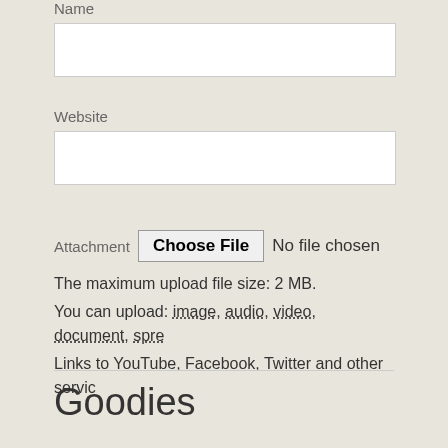Name
Website
Attachment   Choose File   No file chosen
The maximum upload file size: 2 MB.
You can upload: image, audio, video, document, spre
Links to YouTube, Facebook, Twitter and other servic
Goodies